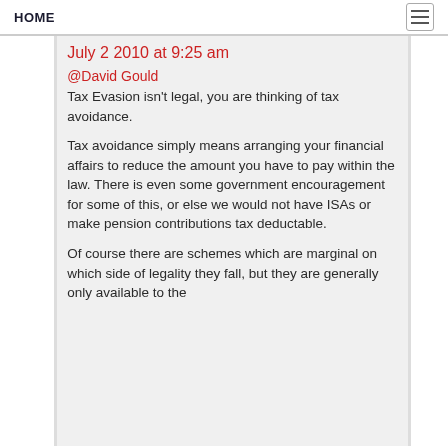HOME
July 2 2010 at 9:25 am
@David Gould
Tax Evasion isn't legal, you are thinking of tax avoidance.
Tax avoidance simply means arranging your financial affairs to reduce the amount you have to pay within the law. There is even some government encouragement for some of this, or else we would not have ISAs or make pension contributions tax deductable.
Of course there are schemes which are marginal on which side of legality they fall, but they are generally only available to the